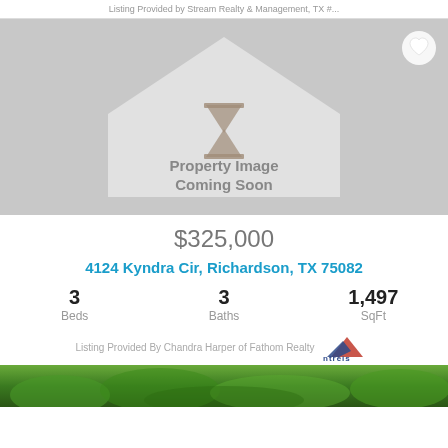Listing Provided by Stream Realty & Management, TX #...
[Figure (illustration): Property image placeholder showing a house silhouette with hourglass icon and text 'Property Image Coming Soon' on gray background, with a heart/favorite icon in top-right corner]
$325,000
4124 Kyndra Cir, Richardson, TX 75082
3 Beds   3 Baths   1,497 SqFt
Listing Provided By Chandra Harper of Fathom Realty ntreis
[Figure (photo): Bottom strip showing green foliage/garden photo]